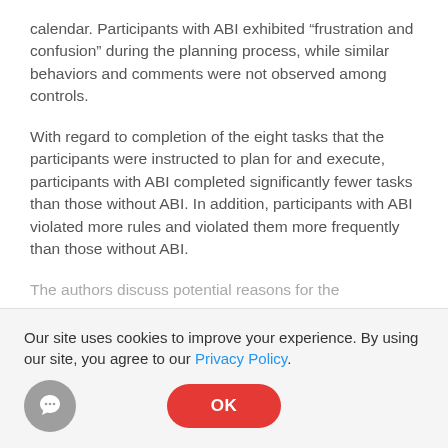calendar. Participants with ABI exhibited “frustration and confusion” during the planning process, while similar behaviors and comments were not observed among controls.
With regard to completion of the eight tasks that the participants were instructed to plan for and execute, participants with ABI completed significantly fewer tasks than those without ABI. In addition, participants with ABI violated more rules and violated them more frequently than those without ABI.
The authors discuss potential reasons for the
Our site uses cookies to improve your experience. By using our site, you agree to our Privacy Policy.